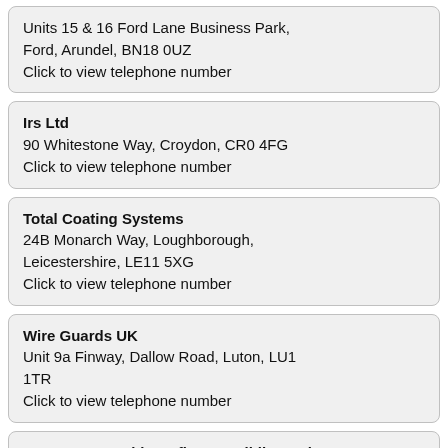Units 15 & 16 Ford Lane Business Park, Ford, Arundel, BN18 0UZ
Click to view telephone number
Irs Ltd
90 Whitestone Way, Croydon, CR0 4FG
Click to view telephone number
Total Coating Systems
24B Monarch Way, Loughborough, Leicestershire, LE11 5XG
Click to view telephone number
Wire Guards UK
Unit 9a Finway, Dallow Road, Luton, LU1 1TR
Click to view telephone number
Avon + Cotswold Roofing & Building Ltd
85 St. Marys Road, Stratford-Upon-Avon, CV37 6TL